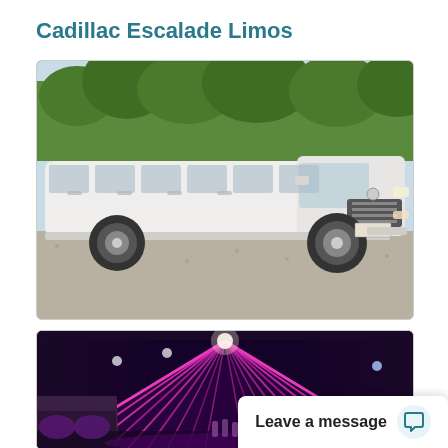Cadillac Escalade Limos
[Figure (photo): White stretched Cadillac Escalade limousine parked on a gravel surface outdoors with trees in the background]
[Figure (photo): Interior of a limousine with bright purple/pink LED lighting, bench seating along the walls, and a long tunnel-like perspective]
Leave a message